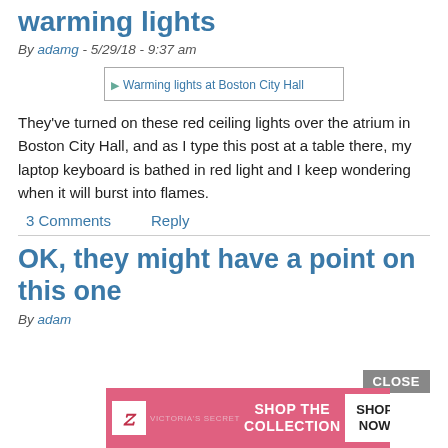warming lights
By adamg - 5/29/18 - 9:37 am
[Figure (photo): Warming lights at Boston City Hall — image placeholder]
They've turned on these red ceiling lights over the atrium in Boston City Hall, and as I type this post at a table there, my laptop keyboard is bathed in red light and I keep wondering when it will burst into flames.
3 Comments    Reply
OK, they might have a point on this one
By adam
[Figure (screenshot): Victoria's Secret advertisement: SHOP THE COLLECTION / SHOP NOW with CLOSE button]